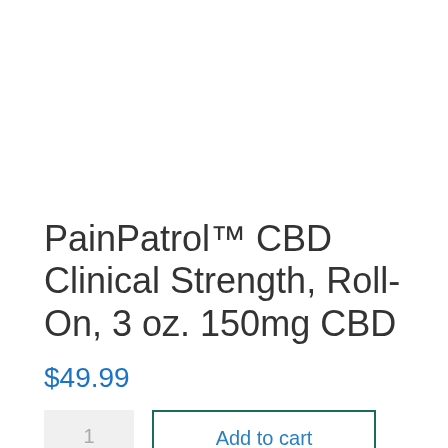PainPatrol™ CBD Clinical Strength, Roll-On, 3 oz. 150mg CBD
$49.99
1
Add to cart